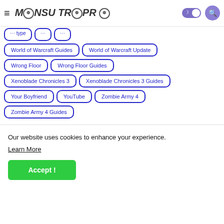≡ MENSUTROPRO [toggle] [search]
World of Warcraft Guides
World of Warcraft Update
Wrong Floor
Wrong Floor Guides
Xenoblade Chronicles 3
Xenoblade Chronicles 3 Guides
Your Boyfriend
YouTube
Zombie Army 4
Zombie Army 4 Guides
Our website uses cookies to enhance your experience. Learn More
Accept !